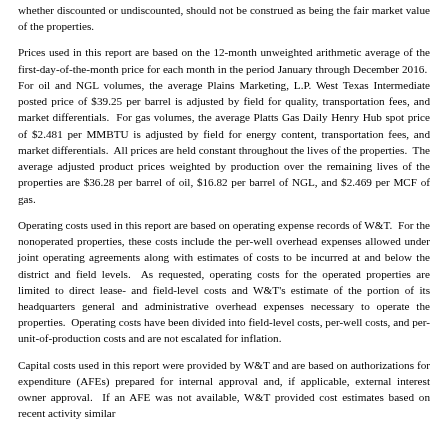whether discounted or undiscounted, should not be construed as being the fair market value of the properties.
Prices used in this report are based on the 12-month unweighted arithmetic average of the first-day-of-the-month price for each month in the period January through December 2016.  For oil and NGL volumes, the average Plains Marketing, L.P. West Texas Intermediate posted price of $39.25 per barrel is adjusted by field for quality, transportation fees, and market differentials.  For gas volumes, the average Platts Gas Daily Henry Hub spot price of $2.481 per MMBTU is adjusted by field for energy content, transportation fees, and market differentials.  All prices are held constant throughout the lives of the properties.  The average adjusted product prices weighted by production over the remaining lives of the properties are $36.28 per barrel of oil, $16.82 per barrel of NGL, and $2.469 per MCF of gas.
Operating costs used in this report are based on operating expense records of W&T.  For the nonoperated properties, these costs include the per-well overhead expenses allowed under joint operating agreements along with estimates of costs to be incurred at and below the district and field levels.  As requested, operating costs for the operated properties are limited to direct lease- and field-level costs and W&T's estimate of the portion of its headquarters general and administrative overhead expenses necessary to operate the properties.  Operating costs have been divided into field-level costs, per-well costs, and per-unit-of-production costs and are not escalated for inflation.
Capital costs used in this report were provided by W&T and are based on authorizations for expenditure (AFEs) prepared for internal approval and, if applicable, external interest owner approval.  If an AFE was not available, W&T provided cost estimates based on recent activity similar